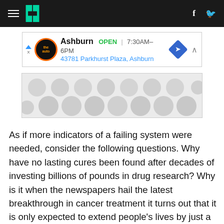HuffPost navigation bar with hamburger menu, logo, Facebook and Twitter icons
[Figure (other): Advertisement banner for Ashburn auto service: OPEN 7:30AM-6PM, 43781 Parkhurst Plaza, Ashburn]
[Figure (other): Advertisement banner with grey circular dots pattern]
As if more indicators of a failing system were needed, consider the following questions. Why have no lasting cures been found after decades of investing billions of pounds in drug research? Why is it when the newspapers hail the latest breakthrough in cancer treatment it turns out that it is only expected to extend people's lives by just a few months? Why have the UK's cancer strategies concentrated on measures to